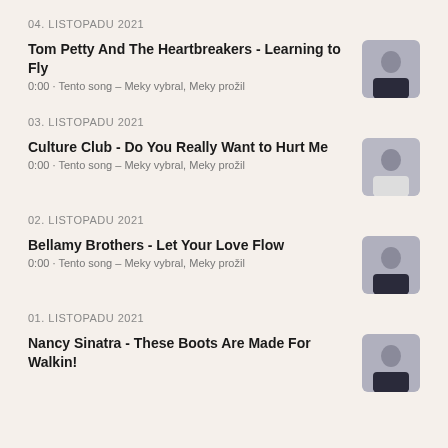04. LISTOPADU 2021
Tom Petty And The Heartbreakers - Learning to Fly
0:00 · Tento song – Meky vybral, Meky prožil
03. LISTOPADU 2021
Culture Club - Do You Really Want to Hurt Me
0:00 · Tento song – Meky vybral, Meky prožil
02. LISTOPADU 2021
Bellamy Brothers - Let Your Love Flow
0:00 · Tento song – Meky vybral, Meky prožil
01. LISTOPADU 2021
Nancy Sinatra - These Boots Are Made For Walkin!